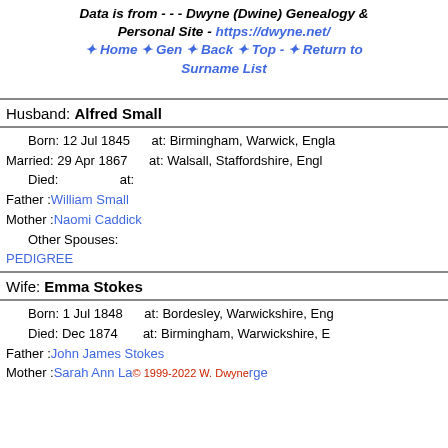Data is from - - - Dwyne (Dwine) Genealogy & Personal Site - https://dwyne.net/ ❧ Home ❧ Gen ❧ Back ❧ Top - ❧ Return to Surname List
Husband: Alfred Small
Born: 12 Jul 1845     at: Birmingham, Warwick, England
Married: 29 Apr 1867     at: Walsall, Staffordshire, England
Died:          at:
Father :William Small
Mother :Naomi Caddick
Other Spouses:
PEDIGREE
Wife: Emma Stokes
Born: 1 Jul 1848     at: Bordesley, Warwickshire, England
Died: Dec 1874     at: Birmingham, Warwickshire, England
Father :John James Stokes
Mother :Sarah Ann Large
© 1999-2022 W. Dwyne